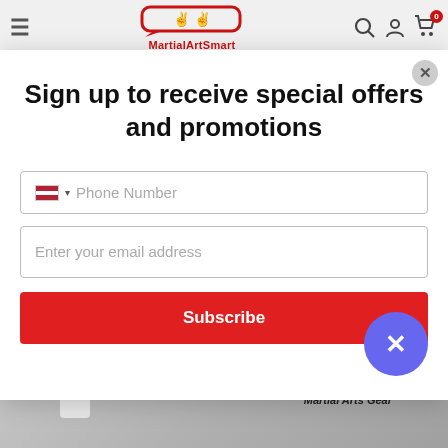MartialArtSmart
Sign up to receive special offers and promotions
Phone Number (input field)
Enter your email address (input field)
Subscribe
[Figure (screenshot): Bottom strip showing a person in white martial arts uniform and TIGER CLA... The Masters' Choice for Martial Arts Gear text]
TIGER CLA
The Masters' Choice for
Martial Arts Gear